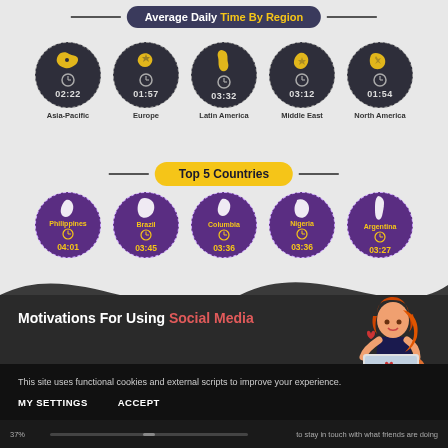Average Daily Time By Region
[Figure (infographic): Five circular icons representing regions with average daily social media time: Asia-Pacific 02:22, Europe 01:57, Latin America 03:32, Middle East 03:12, North America 01:54]
Top 5 Countries
[Figure (infographic): Five circular icons representing top 5 countries with average daily social media time: Philippines 04:01, Brazil 03:45, Columbia 03:36, Nigeria 03:36, Argentina 03:27]
Motivations For Using Social Media
This site uses functional cookies and external scripts to improve your experience.
MY SETTINGS   ACCEPT
to stay in touch with what friends are doing